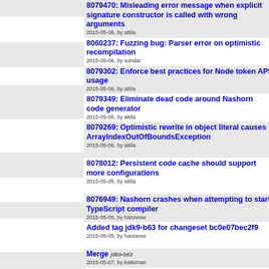[Figure (other): Version control timeline graph with branching lines and commit dots in teal, blue, magenta colors]
8079470: Misleading error message when explicit signature constructor is called with wrong arguments
2015-05-06, by attila
8060237: Fuzzing bug: Parser error on optimistic recompilation
2015-05-06, by sundar
8079302: Enforce best practices for Node token API usage
2015-05-06, by attila
8079349: Eliminate dead code around Nashorn code generator
2015-05-06, by attila
8079269: Optimistic rewrite in object literal causes ArrayIndexOutOfBoundsException
2015-05-06, by attila
8078012: Persistent code cache should support more configurations
2015-05-05, by attila
8076949: Nashorn crashes when attempting to start TypeScript compiler
2015-05-05, by hannesw
Added tag jdk9-b63 for changeset bc0e07bec2f9
2015-05-05, by hannesw
Merge jdk9-b63
2015-05-07, by katleman
Merge
2015-05-01, by lana
8053905: Eager code generation fails for earley boyer with split threshold set to 1000
2015-04-27, by hannesw
8066407: Function with same body not reparsed after SyntaxError
2015-04-27, by hannesw
Added tag jdk9-b62 for changeset 4bc81a6
2015-04-27, by hannesw